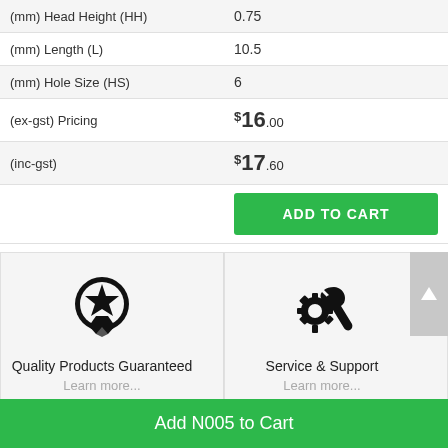| (mm) Head Height (HH) | 0.75 |
| (mm) Length (L) | 10.5 |
| (mm) Hole Size (HS) | 6 |
| (ex-gst) Pricing | $16.00 |
| (inc-gst) | $17.60 |
ADD TO CART
[Figure (illustration): Quality Products Guaranteed icon - medal/ribbon award symbol]
Quality Products Guaranteed
Learn more...
[Figure (illustration): Service & Support icon - gear and wrench symbol]
Service & Support
Learn more...
[Figure (illustration): Fast delivery icon - truck with speed lines]
[Figure (illustration): Australia map icon]
Add N005 to Cart